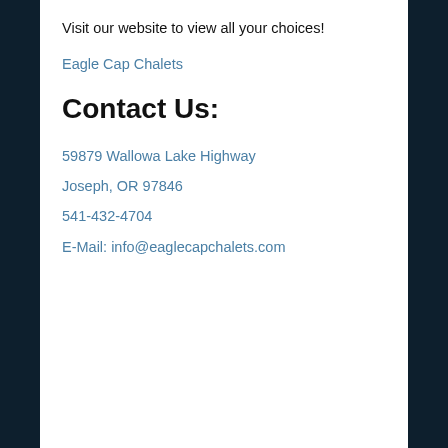Visit our website to view all your choices!
Eagle Cap Chalets
Contact Us:
59879 Wallowa Lake Highway
Joseph, OR 97846
541-432-4704
E-Mail: info@eaglecapchalets.com
Text Size
Home
Fishing